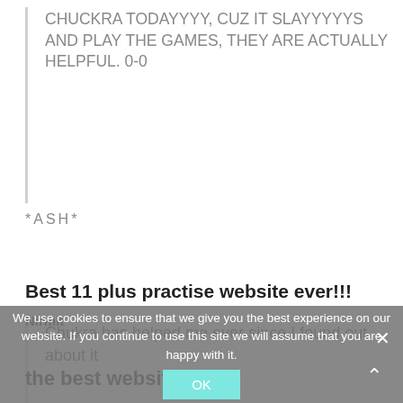CHUCKRA TODAYYYY, CUZ IT SLAYYYYYS AND PLAY THE GAMES, THEY ARE ACTUALLY HELPFUL. 0-0
*ASH*
Best 11 plus practise website ever!!!
Chukra has helped me ever since I found out about it
Nirmit
the best website
We use cookies to ensure that we give you the best experience on our website. If you continue to use this site we will assume that you are happy with it.